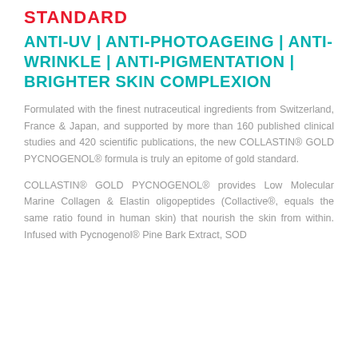STANDARD
ANTI-UV | ANTI-PHOTOAGEING | ANTI-WRINKLE | ANTI-PIGMENTATION | BRIGHTER SKIN COMPLEXION
Formulated with the finest nutraceutical ingredients from Switzerland, France & Japan, and supported by more than 160 published clinical studies and 420 scientific publications, the new COLLASTIN® GOLD PYCNOGENOL® formula is truly an epitome of gold standard.
COLLASTIN® GOLD PYCNOGENOL® provides Low Molecular Marine Collagen & Elastin oligopeptides (Collactive®, equals the same ratio found in human skin) that nourish the skin from within. Infused with Pycnogenol® Pine Bark Extract, SOD